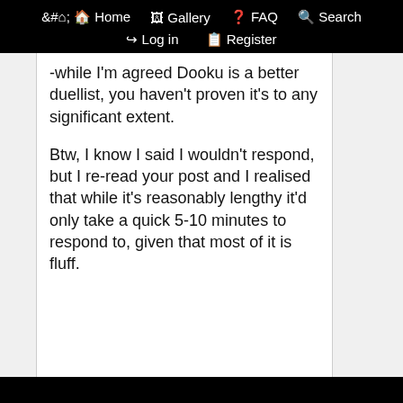Home  Gallery  FAQ  Search  Log in  Register
-while I'm agreed Dooku is a better duellist, you haven't proven it's to any significant extent.
Btw, I know I said I wouldn't respond, but I re-read your post and I realised that while it's reasonably lengthy it'd only take a quick 5-10 minutes to respond to, given that most of it is fluff.